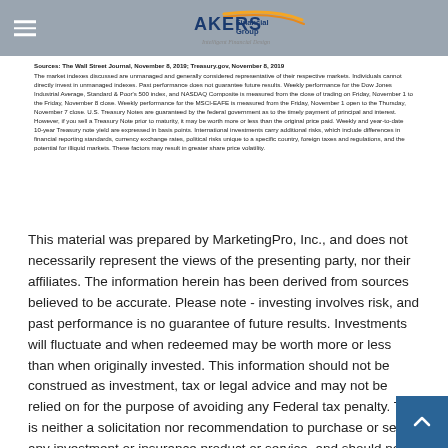Akers Financial Group - Intelligent Financial Design
Sources: The Wall Street Journal, November 8, 2019; Treasury.gov, November 8, 2019
The market indexes discussed are unmanaged and generally considered representative of their respective markets. Individuals cannot directly invest in unmanaged indexes. Past performance does not guarantee future results. Weekly performance for the Dow Jones Industrial Average, Standard & Poor's 500 index, and NASDAQ Composite is measured from the close of trading on Friday, November 1 to the Friday, November 8 close. Weekly performance for the MSCI-EAFE is measured from the Friday, November 1 open to the Thursday, November 7 close. U.S. Treasury Notes are guaranteed by the federal government as to the timely payment of principal and interest. However, if you sell a Treasury Note prior to maturity, it may be worth more or less than the original price paid. Weekly and year-to-date 10-year Treasury note yield are expressed in basis points. International investments carry additional risks, which include differences in financial reporting standards, currency exchange rates, political risks unique to a specific country, foreign taxes and regulations, and the potential for illiquid markets. These factors may result in greater share price volatility.
This material was prepared by MarketingPro, Inc., and does not necessarily represent the views of the presenting party, nor their affiliates. The information herein has been derived from sources believed to be accurate. Please note - investing involves risk, and past performance is no guarantee of future results. Investments will fluctuate and when redeemed may be worth more or less than when originally invested. This information should not be construed as investment, tax or legal advice and may not be relied on for the purpose of avoiding any Federal tax penalty. This is neither a solicitation nor recommendation to purchase or sell any investment or insurance product or service, and should not be relied upon as such. All market